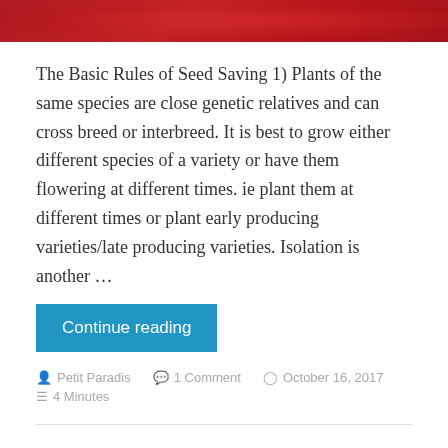[Figure (photo): Close-up of red surface, top strip cropped]
The Basic Rules of Seed Saving 1) Plants of the same species are close genetic relatives and can cross breed or interbreed. It is best to grow either different species of a variety or have them flowering at different times. ie plant them at different times or plant early producing varieties/late producing varieties. Isolation is another …
Continue reading
Petit Paradis   1 Comment   October 16, 2017   4 Minutes